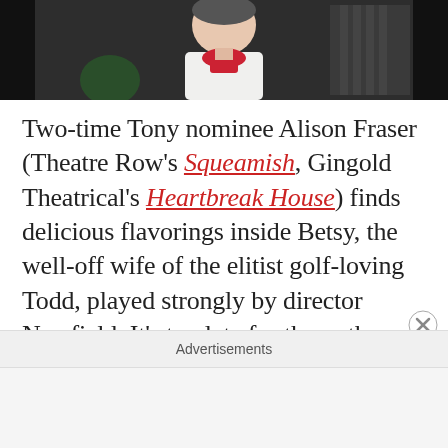[Figure (photo): Photo of a person (Alison Fraser) wearing a white shirt and red scarf, against a dark background]
Two-time Tony nominee Alison Fraser (Theatre Row's Squeamish, Gingold Theatrical's Heartbreak House) finds delicious flavorings inside Betsy, the well-off wife of the elitist golf-loving Todd, played strongly by director Newfield. It's too late for them, they believe, so their idea of life going forward is to ignore the destruction and just simply float along, blissfully cruising by iconic places on a luxurious condo
Advertisements